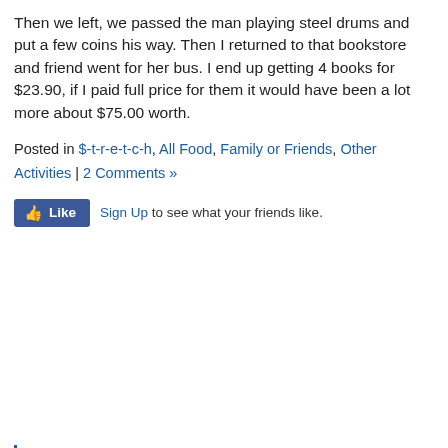Then we left, we passed the man playing steel drums and put a few coins his way. Then I returned to that bookstore and friend went for her bus. I end up getting 4 books for $23.90, if I paid full price for them it would have been a lot more about $75.00 worth.
Posted in $-t-r-e-t-c-h, All Food, Family or Friends, Other Activities | 2 Comments »
Like  Sign Up to see what your friends like.
Doing my son a favour.
May 8th, 2007 at 07:08 am
What do you do when the heel of your shoe breaks and you just started